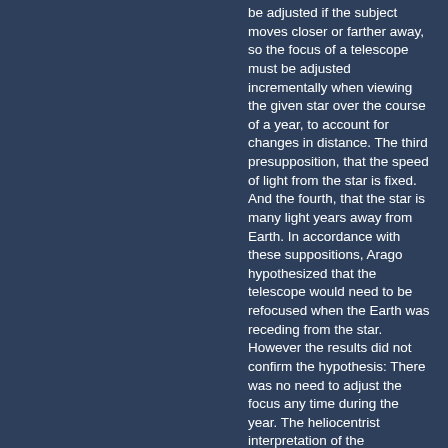be adjusted if the subject moves closer or farther away, so the focus of a telescope must be adjusted incrementally when viewing the given star over the course of a year, to account for changes in distance. The third presupposition, that the speed of light from the star is fixed. And the fourth, that the star is many light years away from Earth. In accordance with these suppositions, Arago hypothesized that the telescope would need to be refocused when the Earth was receding from the star. However the results did not confirm the hypothesis: There was no need to adjust the focus any time during the year. The heliocentrist interpretation of the experimental results would locate the star so far away that its light would be unaffected by the changes in distance caused by an orbiting Earth. The geocentrist explanation is that there is very little relative linear movement between a non-moving Earth and a given star, so that there is no need to adjust focus.